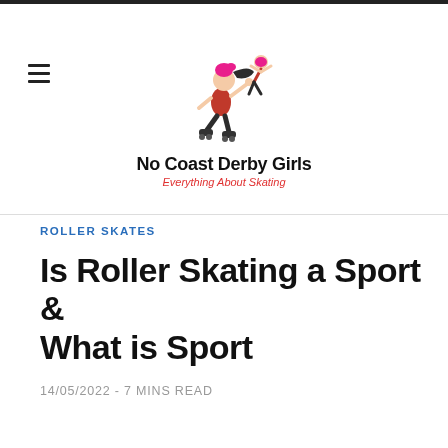No Coast Derby Girls — Everything About Skating
ROLLER SKATES
Is Roller Skating a Sport & What is Sport
14/05/2022 - 7 MINS READ